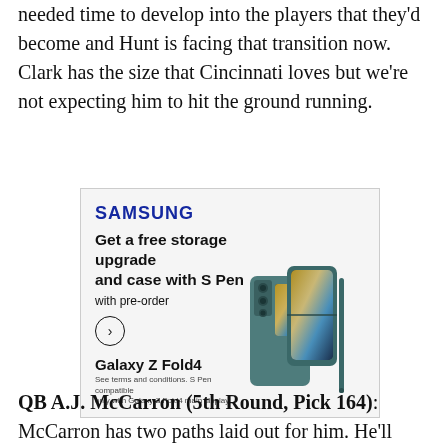needed time to develop into the players that they'd become and Hunt is facing that transition now. Clark has the size that Cincinnati loves but we're not expecting him to hit the ground running.
[Figure (other): Samsung Galaxy Z Fold4 advertisement. Text: SAMSUNG. Get a free storage upgrade and case with S Pen with pre-order. Arrow button. Galaxy Z Fold4. See terms and conditions. S Pen compatible only with Galaxy Z Fold4 main display. Image shows a teal/blue folding phone with S Pen.]
QB A.J. McCarron (5th Round, Pick 164): McCarron has two paths laid out for him. He'll either fight to the